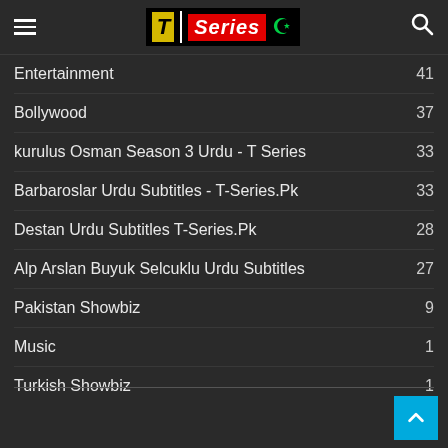T Series logo with hamburger menu and search icon
Entertainment  41
Bollywood  37
kurulus Osman Season 3 Urdu - T Series  33
Barbaroslar Urdu Subtitles - T-Series.Pk  33
Destan Urdu Subtitles T-Series.Pk  28
Alp Arslan Buyuk Selcuklu Urdu Subtitles  27
Pakistan Showbiz  9
Music  1
Turkish Showbiz  1